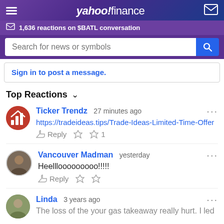yahoo! finance — 1,636 reactions on $BATL conversation
Search for news or symbols
Sign in to post a message.
Top Reactions
Ticker Trendz  27 minutes ago
https://tradeideas.tips/Trade-Ideas-Limited-Time-Offer
Reply  👍  👎 1
Vancouver Madman  yesterday
Heelllooooooooo!!!!!
Reply  👍  👎
Linda  3 years ago
The loss of the your gas takeaway really hurt. I led